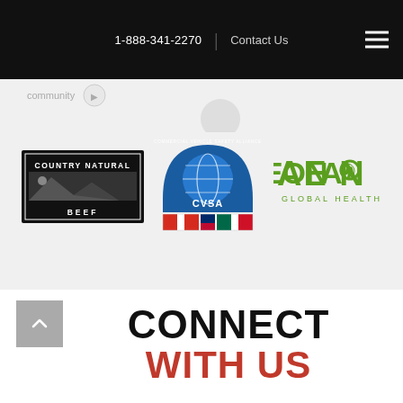1-888-341-2270 | Contact Us
[Figure (logo): App Maisters logo with globe icon on black navigation bar]
[Figure (logo): Partial community logo (cropped at top)]
[Figure (logo): Country Natural Beef logo]
[Figure (logo): CVSA Commercial Vehicle Safety Alliance logo with Canadian, US, and Mexican flags]
[Figure (logo): AEON Global Health logo in green]
CONNECT WITH US